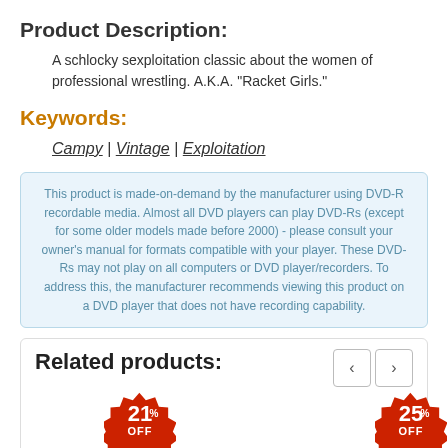Product Description:
A schlocky sexploitation classic about the women of professional wrestling. A.K.A. "Racket Girls."
Keywords:
Campy | Vintage | Exploitation
This product is made-on-demand by the manufacturer using DVD-R recordable media. Almost all DVD players can play DVD-Rs (except for some older models made before 2000) - please consult your owner's manual for formats compatible with your player. These DVD-Rs may not play on all computers or DVD player/recorders. To address this, the manufacturer recommends viewing this product on a DVD player that does not have recording capability.
Related products:
[Figure (infographic): Two red starburst sale badges: one showing 21% OFF and another showing 25% OFF]